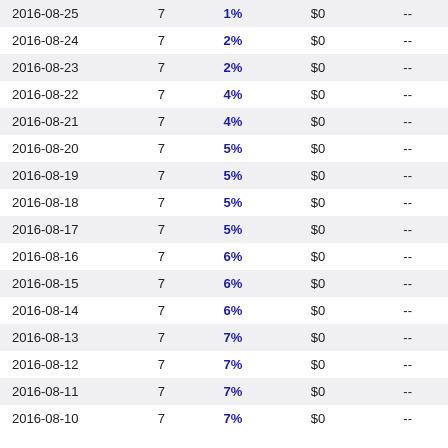| Date |  | % | $ |  |
| --- | --- | --- | --- | --- |
| 2016-08-25 | 7 | 1% | $0 | -- |
| 2016-08-24 | 7 | 2% | $0 | -- |
| 2016-08-23 | 7 | 2% | $0 | -- |
| 2016-08-22 | 7 | 4% | $0 | -- |
| 2016-08-21 | 7 | 4% | $0 | -- |
| 2016-08-20 | 7 | 5% | $0 | -- |
| 2016-08-19 | 7 | 5% | $0 | -- |
| 2016-08-18 | 7 | 5% | $0 | -- |
| 2016-08-17 | 7 | 5% | $0 | -- |
| 2016-08-16 | 7 | 6% | $0 | -- |
| 2016-08-15 | 7 | 6% | $0 | -- |
| 2016-08-14 | 7 | 6% | $0 | -- |
| 2016-08-13 | 7 | 7% | $0 | -- |
| 2016-08-12 | 7 | 7% | $0 | -- |
| 2016-08-11 | 7 | 7% | $0 | -- |
| 2016-08-10 | 7 | 7% | $0 | -- |